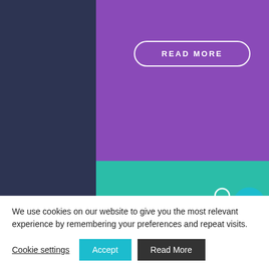[Figure (illustration): Purple background section with a 'READ MORE' button in a pill/rounded outline shape with white text and border]
[Figure (illustration): Teal/green background section with a white line-art icon of a person sitting at a reception desk with a computer monitor]
Co-op Funeral Care facility upgrade
[Figure (illustration): Circular teal social media buttons on the right side: LinkedIn icon, email/envelope icon, phone icon, plus icon]
We use cookies on our website to give you the most relevant experience by remembering your preferences and repeat visits.
Cookie settings
Accept
Read More